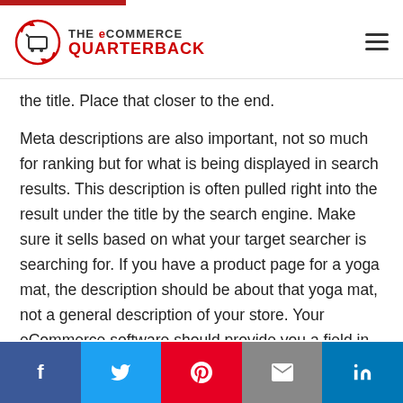THE eCOMMERCE QUARTERBACK
the title. Place that closer to the end.
Meta descriptions are also important, not so much for ranking but for what is being displayed in search results. This description is often pulled right into the result under the title by the search engine. Make sure it sells based on what your target searcher is searching for. If you have a product page for a yoga mat, the description should be about that yoga mat, not a general description of your store. Your eCommerce software should provide you a field in your product utility to insert the meta data for each product. If it does not, you should ask your developer how
f  twitter  pinterest  email  in